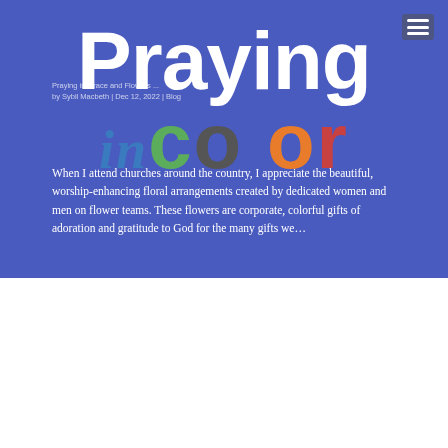[Figure (logo): Praying in Color blog logo overlay — large white 'Praying' text and multicolored 'color' text with italic 'in', on blue background]
Praying in Grace and Flowers ...
by Sybil Macbeth | Dec 12, 2022 | Blog
When I attend churches around the country, I appreciate the beautiful, worship-enhancing floral arrangements created by dedicated women and men on flower teams. These flowers are corporate, colorful gifts of adoration and gratitude to God for the many gifts we...
Search
Sign Up to Receive Blog Posts!
email address
Subscribe